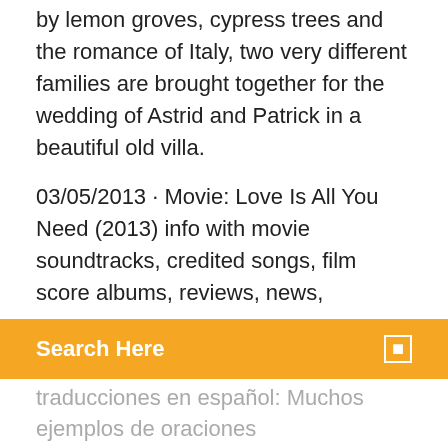by lemon groves, cypress trees and the romance of Italy, two very different families are brought together for the wedding of Astrid and Patrick in a beautiful old villa.
03/05/2013 · Movie: Love Is All You Need (2013) info with movie soundtracks, credited songs, film score albums, reviews, news,
Search Here
traducciones en español: Muchos ejemplos de oraciones traducidas contienen "all i need is love" – Diccionario español-inglés y buscador de traducciones en español. It's awkward. It's impossible. It's infuriating. And it may just be the best thing that's ever happened to them. Watch trailers & learn more. Love is All you need è un'incredibile scivolone tutto melassa, buonismo e invito al fazzoletto che può capitare di fare anche ai più duri e puri in momenti di stanca o di assenza di ispirazione. Al punto che pare difficile credere, uscendo dalla sala, che un film di questo tipo possa essere stato scritto e diretto dalla